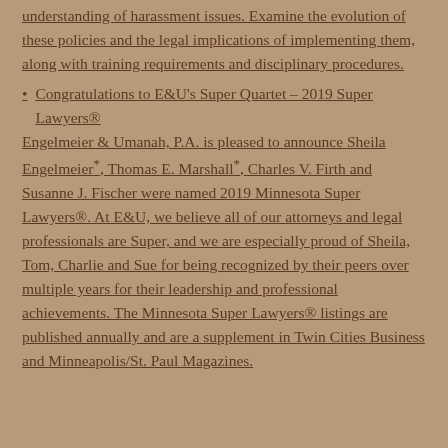understanding of harassment issues. Examine the evolution of these policies and the legal implications of implementing them, along with training requirements and disciplinary procedures.
Congratulations to E&U's Super Quartet – 2019 Super Lawyers®
Engelmeier & Umanah, P.A. is pleased to announce Sheila Engelmeier*, Thomas E. Marshall*, Charles V. Firth and Susanne J. Fischer were named 2019 Minnesota Super Lawyers®. At E&U, we believe all of our attorneys and legal professionals are Super, and we are especially proud of Sheila, Tom, Charlie and Sue for being recognized by their peers over multiple years for their leadership and professional achievements. The Minnesota Super Lawyers® listings are published annually and are a supplement in Twin Cities Business and Minneapolis/St. Paul Magazines.